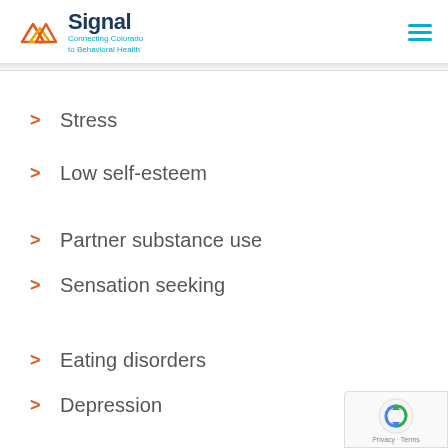[Figure (logo): Signal logo with mountain/house icon and tagline 'Connecting Colorado to Behavioral Health']
Stress
Low self-esteem
Partner substance use
Sensation seeking
Eating disorders
Depression